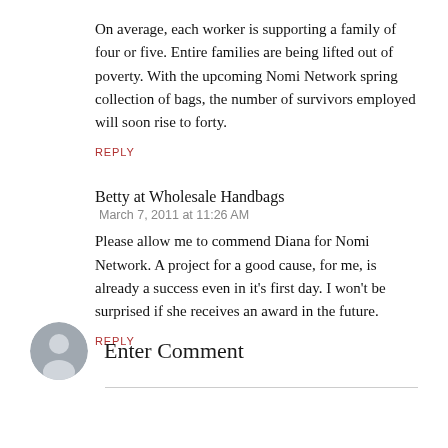On average, each worker is supporting a family of four or five. Entire families are being lifted out of poverty. With the upcoming Nomi Network spring collection of bags, the number of survivors employed will soon rise to forty.
REPLY
Betty at Wholesale Handbags
March 7, 2011 at 11:26 AM
Please allow me to commend Diana for Nomi Network. A project for a good cause, for me, is already a success even in it's first day. I won't be surprised if she receives an award in the future.
REPLY
Enter Comment